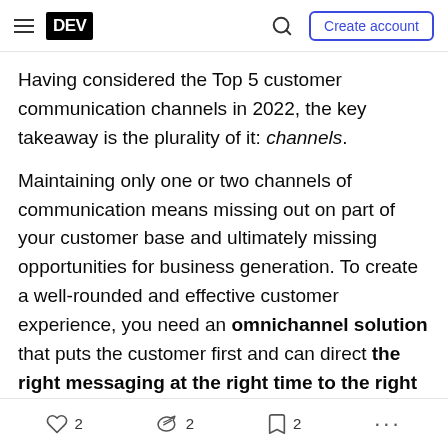DEV | Create account
Having considered the Top 5 customer communication channels in 2022, the key takeaway is the plurality of it: channels.
Maintaining only one or two channels of communication means missing out on part of your customer base and ultimately missing opportunities for business generation. To create a well-rounded and effective customer experience, you need an omnichannel solution that puts the customer first and can direct the right messaging at the right time to the right customers.
In the following article of this two-part series, we...
2  2  2  ...